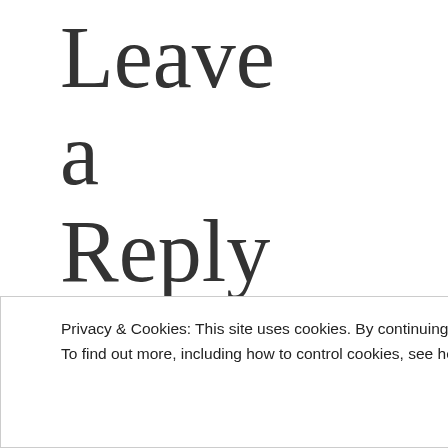Leave a Reply to
Privacy & Cookies: This site uses cookies. By continuing to use this website, you agree to their use.
To find out more, including how to control cookies, see here: Cookie Policy